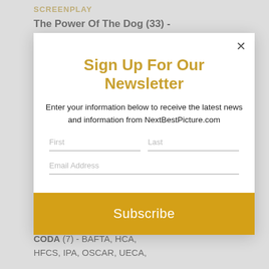SCREENPLAY
The Power Of The Dog (33) -
Sign Up For Our Newsletter
Enter your information below to receive the latest news and information from NextBestPicture.com
First
Last
Email Address
Subscribe
CODA (7) - BAFTA, HCA, HFCS, IPA, OSCAR, UECA,